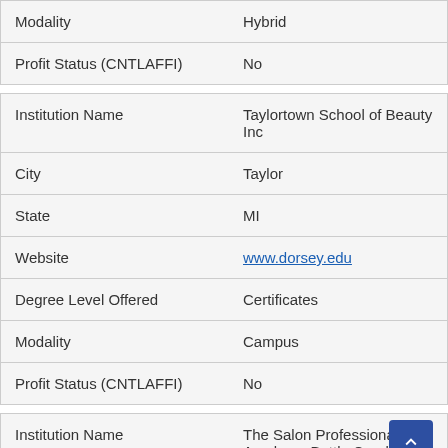| Field | Value |
| --- | --- |
| Modality | Hybrid |
| Profit Status (CNTLAFFI) | No |
| Field | Value |
| --- | --- |
| Institution Name | Taylortown School of Beauty Inc |
| City | Taylor |
| State | MI |
| Website | www.dorsey.edu |
| Degree Level Offered | Certificates |
| Modality | Campus |
| Profit Status (CNTLAFFI) | No |
| Field | Value |
| --- | --- |
| Institution Name | The Salon Professional Academy-Battle Creek |